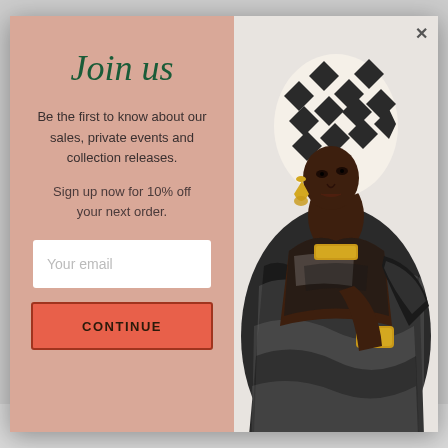Join us
Be the first to know about our sales, private events and collection releases.
Sign up now for 10% off your next order.
Your email
CONTINUE
[Figure (photo): Fashion model wearing a black and white patterned wrap dress and matching head wrap, with large gold earrings and gold cuff bracelet, looking down]